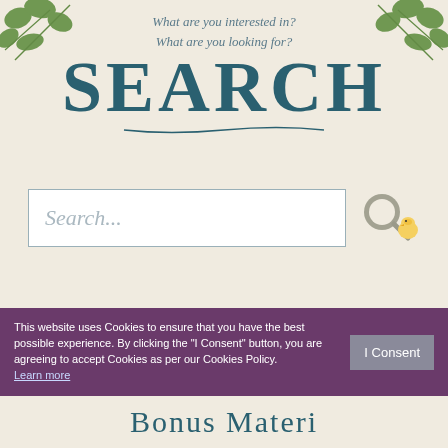[Figure (illustration): Decorative ivy leaves in top left and top right corners of the page]
What are you interested in?
What are you looking for?
SEARCH
[Figure (illustration): Search input box with placeholder text 'Search...' and a search icon with a small yellow chick next to it]
Bookshelf
Coming Soon
International
Printable Booklist
This website uses Cookies to ensure that you have the best possible experience. By clicking the "I Consent" button, you are agreeing to accept Cookies as per our Cookies Policy. Learn more
Bonus Material